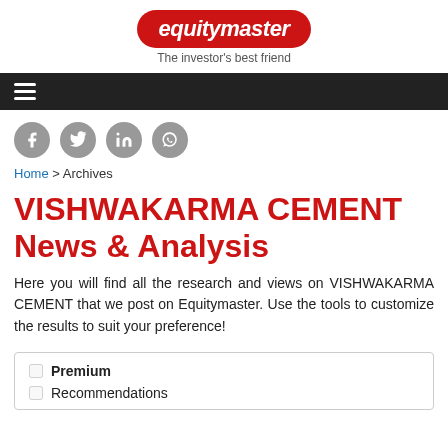[Figure (logo): Equitymaster logo: red rounded rectangle badge with italic white text 'equitymaster' and tagline 'The investor's best friend']
[Figure (infographic): Black navigation bar with white hamburger menu icon (three horizontal lines)]
[Figure (infographic): Row of four grey circular social media icons: Facebook, Twitter, LinkedIn, WhatsApp]
Home > Archives
VISHWAKARMA CEMENT News & Analysis
Here you will find all the research and views on VISHWAKARMA CEMENT that we post on Equitymaster. Use the tools to customize the results to suit your preference!
| Premium |
| Recommendations |